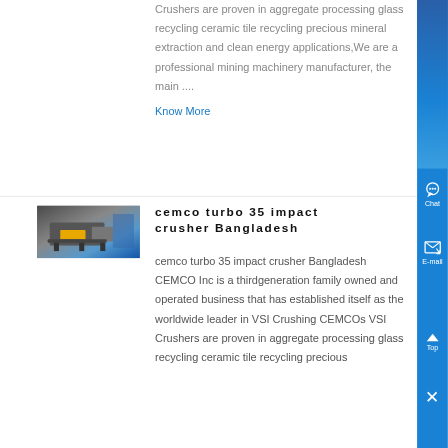Crushers are proven in aggregate processing glass recycling ceramic tile recycling precious mineral extraction and clean energy applications,We are a professional mining machinery manufacturer, the main ....
Know More
[Figure (photo): Photo of a cemco turbo impact crusher machine, industrial equipment with yellow and grey components]
cemco turbo 35 impact crusher Bangladesh
cemco turbo 35 impact crusher Bangladesh CEMCO Inc is a thirdgeneration family owned and operated business that has established itself as the worldwide leader in VSI Crushing CEMCOs VSI Crushers are proven in aggregate processing glass recycling ceramic tile recycling precious